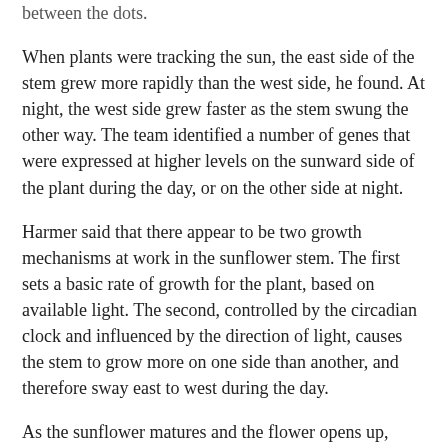between the dots.
When plants were tracking the sun, the east side of the stem grew more rapidly than the west side, he found. At night, the west side grew faster as the stem swung the other way. The team identified a number of genes that were expressed at higher levels on the sunward side of the plant during the day, or on the other side at night.
Harmer said that there appear to be two growth mechanisms at work in the sunflower stem. The first sets a basic rate of growth for the plant, based on available light. The second, controlled by the circadian clock and influenced by the direction of light, causes the stem to grow more on one side than another, and therefore sway east to west during the day.
As the sunflower matures and the flower opens up, overall growth slows down and the plants stop moving during the day and settle down facing east. This seems to be because, as overall growth slows down, the circadian clock ensures that the plant reacts more strongly to light early in the morning that in the